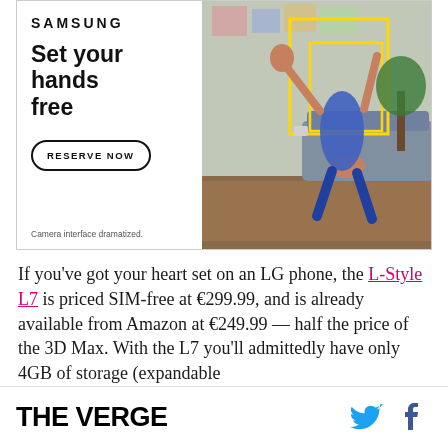[Figure (photo): Samsung advertisement banner showing 'Set your hands free' with a woman doing a yoga pose upside down, a 'RESERVE NOW' button, and text 'Camera interface dramatized.']
If you've got your heart set on an LG phone, the L-Style L7 is priced SIM-free at €299.99, and is already available from Amazon at €249.99 — half the price of the 3D Max. With the L7 you'll admittedly have only 4GB of storage (expandable
THE VERGE